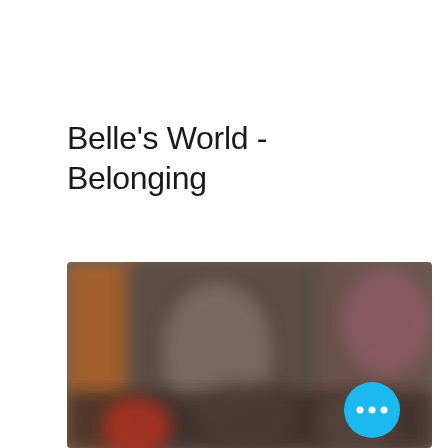Belle's World - Belonging
[Figure (photo): A blurred group photo of people gathered around a table, with warm indoor lighting. A cyan/blue circular button with three white dots (ellipsis) is overlaid in the bottom-right corner of the image.]